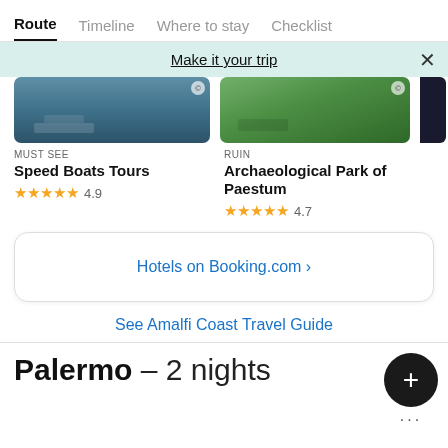Route  Timeline  Where to stay  Checklist
Make it your trip  ×
[Figure (photo): Aerial photo of Speed Boats Tours location]
MUST SEE
Speed Boats Tours
★★★★★ 4.9
[Figure (photo): Aerial photo of Archaeological Park of Paestum]
RUIN
Archaeological Park of Paestum
★★★★★ 4.7
Hotels on Booking.com ›
See Amalfi Coast Travel Guide
Palermo – 2 nights